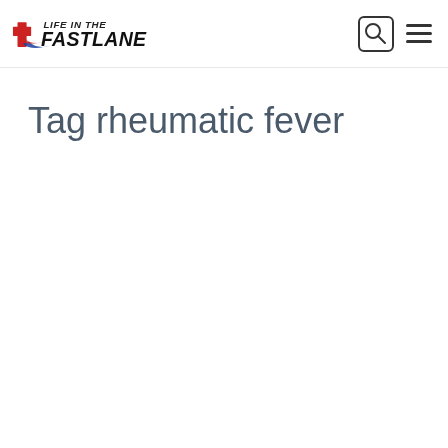Life in the Fast Lane — logo and navigation
Tag rheumatic fever